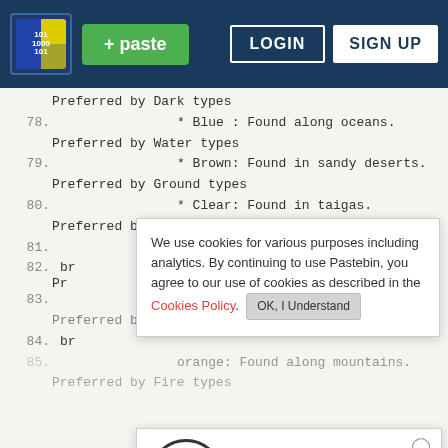Pastebin navigation bar with logo, paste button, login and sign up buttons
Preferred by Dark types
78.    * Blue : Found along oceans.
Preferred by Water types
79.    * Brown: Found in sandy deserts.
Preferred by Ground types
80.    * Clear: Found in taigas.
Preferred by Ice types
81.    * Gold: Found in mangrove swamps.
Pr
82. br
83.
Preferred by Rock types
84. br
85.    orange: Found along mountains.
Preferred by Fire types